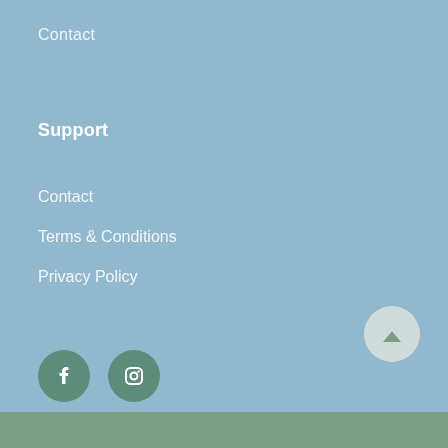Contact
Support
Contact
Terms & Conditions
Privacy Policy
[Figure (other): Facebook and Instagram social media icon buttons (dark teal circular icons with white logos)]
[Figure (other): Scroll-to-top button (light grey circle with upward chevron arrow)]